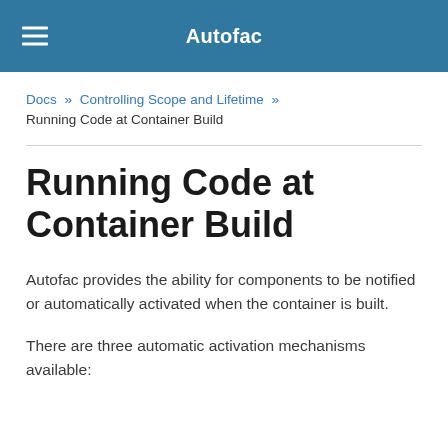Autofac
Docs » Controlling Scope and Lifetime » Running Code at Container Build
Running Code at Container Build
Autofac provides the ability for components to be notified or automatically activated when the container is built.
There are three automatic activation mechanisms available: